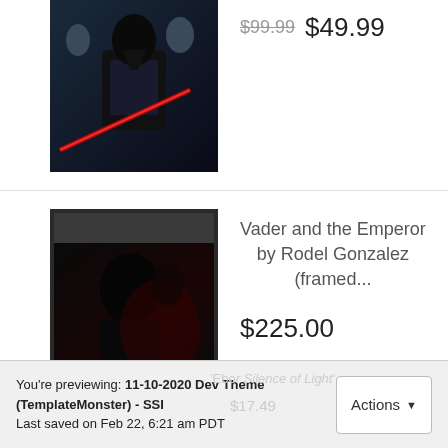[Figure (photo): Darth Vader with red lightsaber and stormtroopers movie art print]
$99.99 $49.99
[Figure (photo): Framed art print showing Vader and the Emperor in dark tones]
Vader and the Emperor by Rodel Gonzalez (framed...
$225.00
You're previewing: 11-10-2020 Dev Theme (TemplateMonster) - SSI
Last saved on Feb 22, 6:21 am PDT